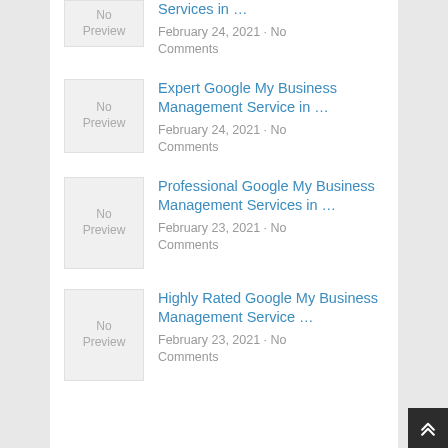[Figure (other): No Preview placeholder image thumbnail (partially visible at top)]
Services in …
February 24, 2021 · No Comments
[Figure (other): No Preview placeholder image thumbnail]
Expert Google My Business Management Service in …
February 24, 2021 · No Comments
[Figure (other): No Preview placeholder image thumbnail]
Professional Google My Business Management Services in …
February 23, 2021 · No Comments
[Figure (other): No Preview placeholder image thumbnail]
Highly Rated Google My Business Management Service …
February 23, 2021 · No Comments